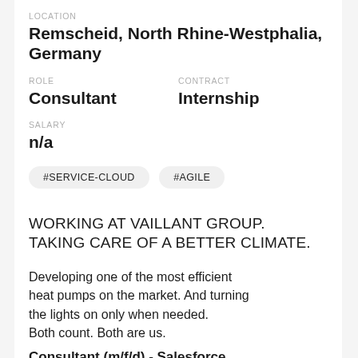LOCATION
Remscheid, North Rhine-Westphalia, Germany
ROLE
Consultant
CONTRACT
Internship
SALARY
n/a
#SERVICE-CLOUD  #AGILE
WORKING AT VAILLANT GROUP. TAKING CARE OF A BETTER CLIMATE.
Developing one of the most efficient heat pumps on the market. And turning the lights on only when needed. Both count. Both are us.
Consultant (m/f/d) - Salesforce